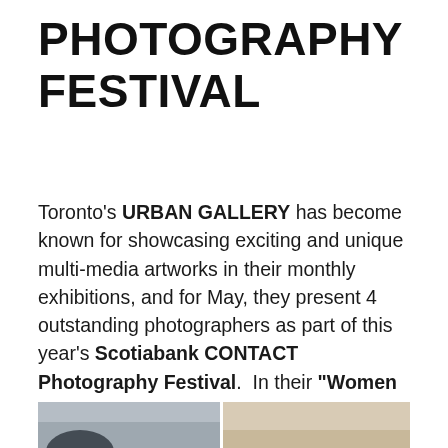PHOTOGRAPHY FESTIVAL
Toronto's URBAN GALLERY has become known for showcasing exciting and unique multi-media artworks in their monthly exhibitions, and for May, they present 4 outstanding photographers as part of this year's Scotiabank CONTACT Photography Festival.  In their "Women at Work" show, Urban features images of women going about their work-a-day lives, be it as horse grooms, boxers, ballerinas, mothers, fashionistas….and the photos are simply gorgeous.
[Figure (photo): Partial view of two photographs side by side, cropped at bottom of page — grey-toned image on left, beige/warm-toned image on right, with a dark circular shape visible at bottom left.]